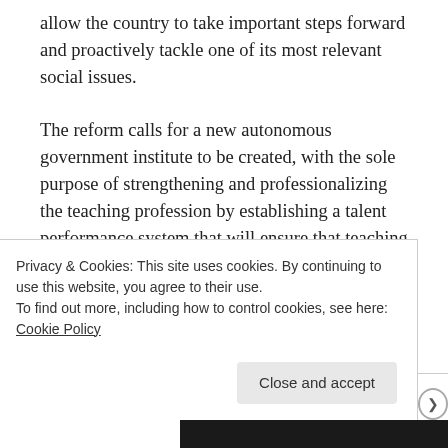allow the country to take important steps forward and proactively tackle one of its most relevant social issues.

The reform calls for a new autonomous government institute to be created, with the sole purpose of strengthening and professionalizing the teaching profession by establishing a talent performance system that will ensure that teaching positions are awarded based on merit and not discretional criteria. The system includes periodical evaluations for the public system teachers, a change that undoubtedly will
Privacy & Cookies: This site uses cookies. By continuing to use this website, you agree to their use.
To find out more, including how to control cookies, see here: Cookie Policy

Close and accept